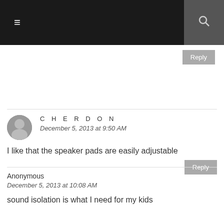≡  🔍
Reply
CHERDON
December 5, 2013 at 9:50 AM
I like that the speaker pads are easily adjustable
Reply
Anonymous
December 5, 2013 at 10:08 AM
sound isolation is what I need for my kids